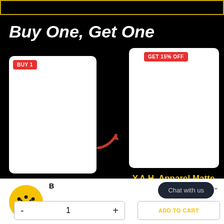[Figure (screenshot): E-commerce 'Buy One, Get One' promotional page showing two product cards on a black background. Left card has a red 'BUY 1' badge with a white card for 'Love What You Have Spinner T-Shirt Dress'. Right card has a red 'GET 15% OFF' badge for 'Y.A.H. Apparel Matte Paper Framed Poster'. A red arrow points from left card to right card. Bottom bar shows quantity selector and ADD TO CART button in yellow, plus a Chat with us button.]